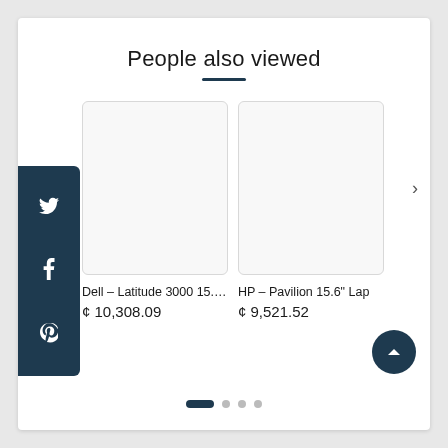People also viewed
[Figure (screenshot): Two product cards showing blank white image boxes for Dell Latitude 3000 and HP Pavilion laptops in a carousel layout with social share sidebar]
Dell – Latitude 3000 15.6" L...
¢ 10,308.09
HP – Pavilion 15.6" Lap...
¢ 9,521.52